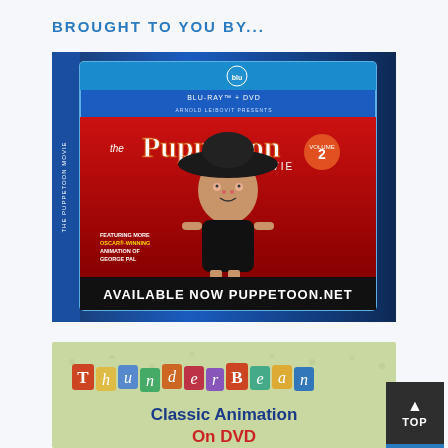BROUGHT TO YOU BY...
[Figure (photo): Puppetoon Movie Volume 2 Blu-ray + DVD product image on dark blue background with a puppet doll character in a black dress and wide-brimmed hat. Text reads: BLU-RAY + DVD, ARNOLD LEIBOVIT PRESENTS, THE PUPPETOON MOVIE, VOLUME 2, FEATURING MORE OSCAR-WINNING ANIMATION OF GEORGE PAL. Bottom banner: AVAILABLE NOW PUPPETOON.NET]
[Figure (photo): ThunderBean Classic Animation On DVD advertisement with colorful letter tiles spelling ThunderBean on a light green background. Bold text reads: Classic Animation On DVD]